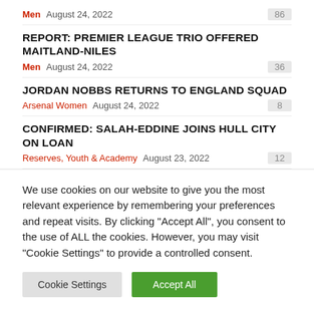Men  August 24, 2022  86
REPORT: PREMIER LEAGUE TRIO OFFERED MAITLAND-NILES
Men  August 24, 2022  36
JORDAN NOBBS RETURNS TO ENGLAND SQUAD
Arsenal Women  August 24, 2022  8
CONFIRMED: SALAH-EDDINE JOINS HULL CITY ON LOAN
Reserves, Youth & Academy  August 23, 2022  12
We use cookies on our website to give you the most relevant experience by remembering your preferences and repeat visits. By clicking "Accept All", you consent to the use of ALL the cookies. However, you may visit "Cookie Settings" to provide a controlled consent.